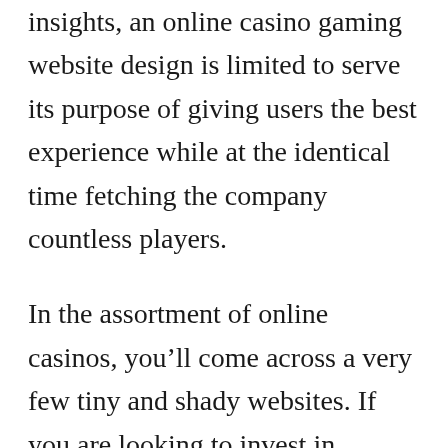insights, an online casino gaming website design is limited to serve its purpose of giving users the best experience while at the identical time fetching the company countless players.
In the assortment of online casinos, you’ll come across a very few tiny and shady websites. If you are looking to invest in specific level of quality, and selling price is little concept, have a look at into simply taking property cash from the gambling den you have